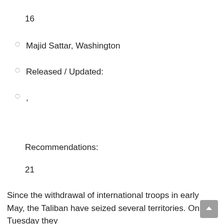16
Majid Sattar, Washington
Released / Updated:
,
Recommendations:
21
Since the withdrawal of international troops in early May, the Taliban have seized several territories. On Tuesday they